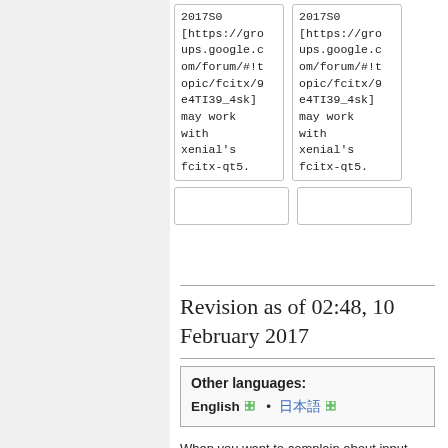| 2017S0
[https://groups.google.com/forum/#!topic/fcitx/9e4TI39_4sk] may work with xenial's fcitx-qt5. | 2017S0
[https://groups.google.com/forum/#!topic/fcitx/9e4TI39_4sk] may work with xenial's fcitx-qt5. |
|  |  |
Revision as of 02:48, 10 February 2017
Other languages:
English • 日本語
When you want to complain about input method cannot work correctly, please